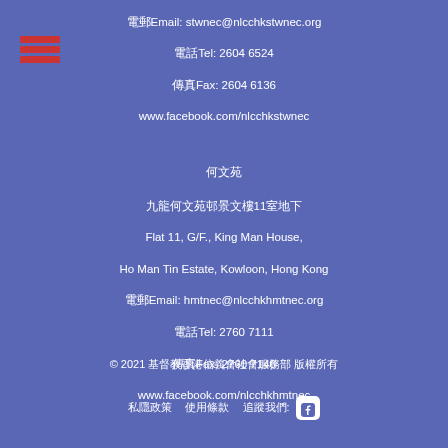[Figure (infographic): Red horizontal lines menu/hamburger icon in top left corner]
電話Email: stwnec@nlcchkstwnec.org
電話Tel: 2604 6524
傳真Fax: 2604 6136
www.facebook.com/nlcchkstwnec
何文苑
九龍何文苑邨景文樓11室地下
Flat 11, G/F., King Man House, Ho Man Tin Estate, Kowloon, Hong Kong
電郵Email: hmtnec@nlcchkhmtnec.org
電話Tel: 2760 7111
傳真Fax: 2760 7140
www.facebook.com/nlcchkhmtnec
© 2021 基督教香港信義會社會服務部 版權所有
私隱政策  使用條款  追蹤我們: Facebook